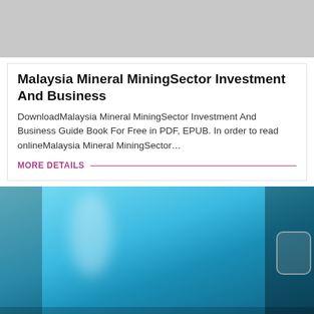[Figure (photo): Gray placeholder image at top of page]
Malaysia Mineral MiningSector Investment And Business
DownloadMalaysia Mineral MiningSector Investment And Business Guide Book For Free in PDF, EPUB. In order to read onlineMalaysia Mineral MiningSector…
MORE DETAILS
[Figure (photo): Large blue cylindrical industrial tank or container, industrial setting]
Leave Message
Chat Online